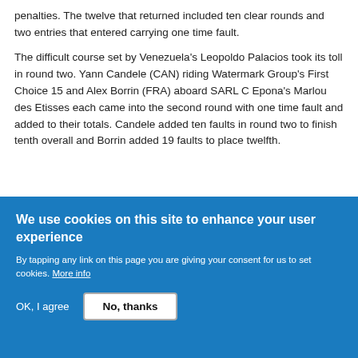penalties. The twelve that returned included ten clear rounds and two entries that entered carrying one time fault.
The difficult course set by Venezuela's Leopoldo Palacios took its toll in round two. Yann Candele (CAN) riding Watermark Group's First Choice 15 and Alex Borrin (FRA) aboard SARL C Epona's Marlou des Etisses each came into the second round with one time fault and added to their totals. Candele added ten faults in round two to finish tenth overall and Borrin added 19 faults to place twelfth.
[Figure (photo): A horse rider wearing a dark helmet and jacket, leaning forward on a horse during a jumping competition. Blurred background with signage visible.]
We use cookies on this site to enhance your user experience
By tapping any link on this page you are giving your consent for us to set cookies. More info
OK, I agree
No, thanks